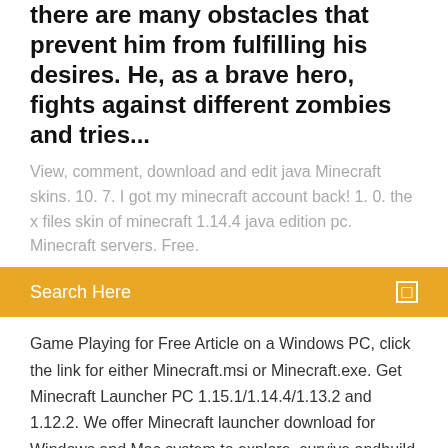there are many obstacles that prevent him from fulfilling his desires. He, as a brave hero, fights against different zombies and tries...
View, comment, download and edit java Minecraft skins. 10. 7. I got my minecraft account back! 1. 0. the x files skin of minecraft 1.14.4 java edition pc. Minecraft servers. Free.
Search Here
Game Playing for Free Article on a Windows PC, click the link for either Minecraft.msi or Minecraft.exe. Get Minecraft Launcher PC 1.15.1/1.14.4/1.13.2 and 1.12.2. We offer Minecraft launcher download for Windows and Mac system to explore, survive andbuild your own world. You do not know where to download free Minecraft? Then this category with different versions of the game for you Here you can free download the latest full version of Minecraft 1.15.1 - 1.14.4 for PC (Java Edition) & Minecraft PE 1.14.2.50, 1.14.1.5 Bedrock Edition